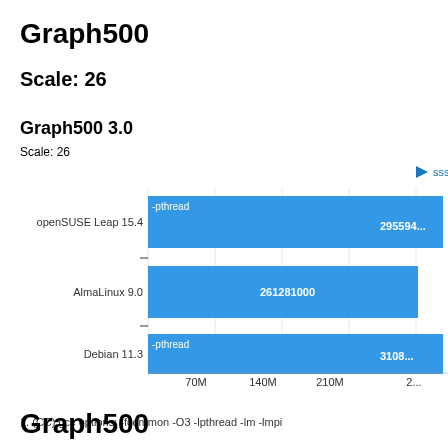Graph500
Scale: 26
Graph500 3.0
Scale: 26
[Figure (bar-chart): sssp median_TEPS, More Is Better]
1. (CC) gcc options: -fcommon -O3 -lpthread -lm -lmpi
Graph500